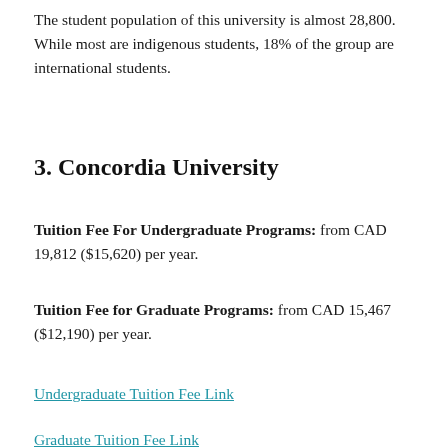The student population of this university is almost 28,800. While most are indigenous students, 18% of the group are international students.
3. Concordia University
Tuition Fee For Undergraduate Programs: from CAD 19,812 ($15,620) per year.
Tuition Fee for Graduate Programs: from CAD 15,467 ($12,190) per year.
Undergraduate Tuition Fee Link
Graduate Tuition Fee Link